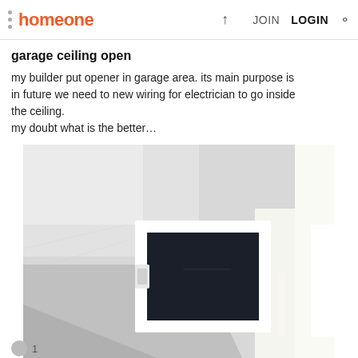homeone   JOIN   LOGIN
garage ceiling open
my builder put opener in garage area. its main purpose is in future we need to new wiring for electrician to go inside the ceiling.
my doubt what is the better…
[Figure (photo): A photograph of a white garage ceiling with a square access hatch/opener panel that is open, showing dark interior above. Bright light visible along the right edge of the ceiling.]